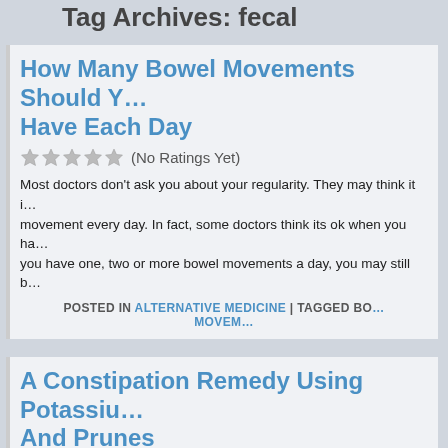Tag Archives: fecal
How Many Bowel Movements Should You Have Each Day
(No Ratings Yet)
Most doctors don't ask you about your regularity. They may think it is normal to have a bowel movement every day. In fact, some doctors think its ok when you have 3 movements a week. If you have one, two or more bowel movements a day, you may still b…
POSTED IN ALTERNATIVE MEDICINE | TAGGED BOWEL MOVEMENTS
A Constipation Remedy Using Potassium And Prunes
(No Ratings Yet)
Potassium and prunes are a natural constipation remedy that you can use to get fast constipation relief. Potassium is needed in your colon walls to insure your colon functions well. Without potassium, colon walls are weak and unable to respond and contract properly to move fecal matter along so it can be move. Potassium in your […]